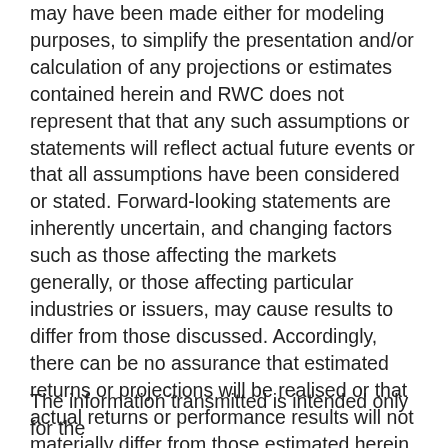may have been made either for modeling purposes, to simplify the presentation and/or calculation of any projections or estimates contained herein and RWC does not represent that that any such assumptions or statements will reflect actual future events or that all assumptions have been considered or stated. Forward-looking statements are inherently uncertain, and changing factors such as those affecting the markets generally, or those affecting particular industries or issuers, may cause results to differ from those discussed. Accordingly, there can be no assurance that estimated returns or projections will be realised or that actual returns or performance results will not materially differ from those estimated herein. Some of the information contained in this document may be aggregated data of Transactions executed by RWC that has been compiled so as not to identify the underlying Transactions of any particular customer.
The information transmitted is intended only for the person or entity to which it has been given and